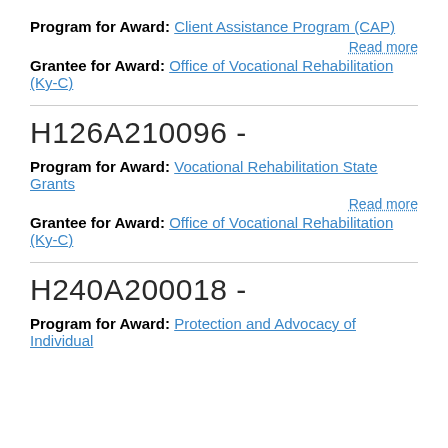Program for Award: Client Assistance Program (CAP)
Read more
Grantee for Award: Office of Vocational Rehabilitation (Ky-C)
H126A210096 -
Program for Award: Vocational Rehabilitation State Grants
Read more
Grantee for Award: Office of Vocational Rehabilitation (Ky-C)
H240A200018 -
Program for Award: Protection and Advocacy of Individual